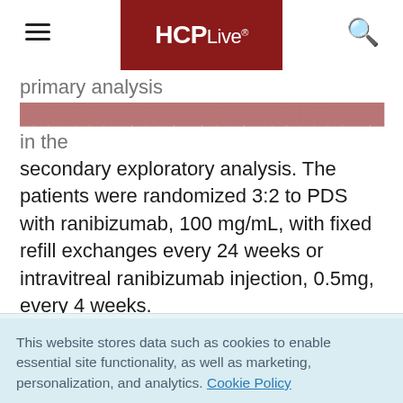HCPLive®
primary analysis [partially obscured] in the secondary exploratory analysis. The patients were randomized 3:2 to PDS with ranibizumab, 100 mg/mL, with fixed refill exchanges every 24 weeks or intravitreal ranibizumab injection, 0.5mg, every 4 weeks.
This website stores data such as cookies to enable essential site functionality, as well as marketing, personalization, and analytics. Cookie Policy
Accept
Deny